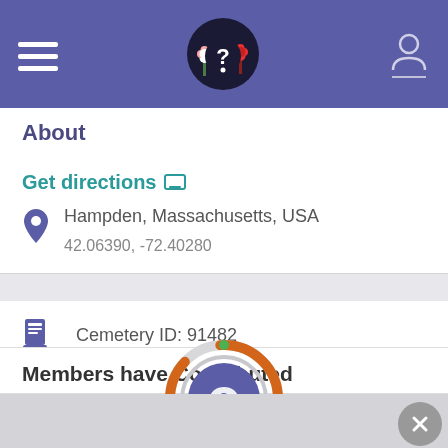[Figure (screenshot): App navigation bar with hamburger menu, logo (question mark with flowers), and user profile icon on purple background]
About
Get directions
Hampden, Massachusetts, USA
42.06390, -72.40280
Cemetery ID: 91482
Members have Contributed
[Figure (donut-chart): Donut/progress ring chart in orange with a small green dot indicator, containing a purple circle with a gravestone question mark icon in the center]